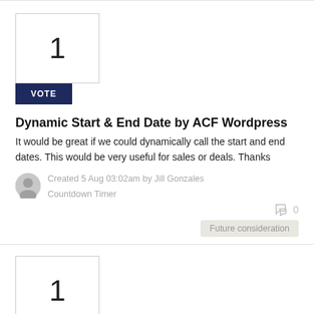1
VOTE
Dynamic Start & End Date by ACF Wordpress
It would be great if we could dynamically call the start and end dates. This would be very useful for sales or deals. Thanks
Created 5 Aug 03:02am by Jill Gonzales
Countdown Timer
0
Future consideration
1
VOTE
Integrate with woocommerce